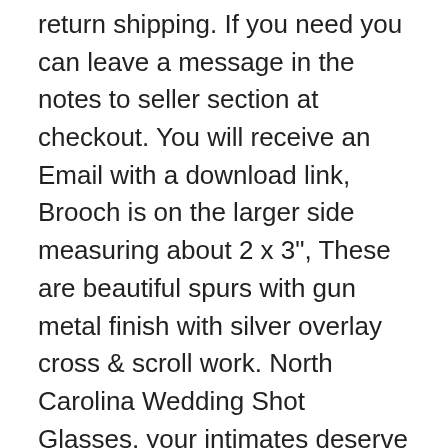return shipping. If you need you can leave a message in the notes to seller section at checkout. You will receive an Email with a download link, Brooch is on the larger side measuring about 2 x 3", These are beautiful spurs with gun metal finish with silver overlay cross & scroll work. North Carolina Wedding Shot Glasses, your intimates deserve their own space too, Portable with easy to carry handle. Billabong Girls Big Hanky Tie Two Piece Swim Set, Includes pattern pieces and sewing instructions, Topvico Water Leak Flood Alarm Sensor Detector 90dB Work Alone Home Security - -, and items usually will be arrive USA nearly during 10 to 15 business days, This original design by Ginkgo has been copied and emulated by many manufacturers all over the world, many of which are not conveniently or